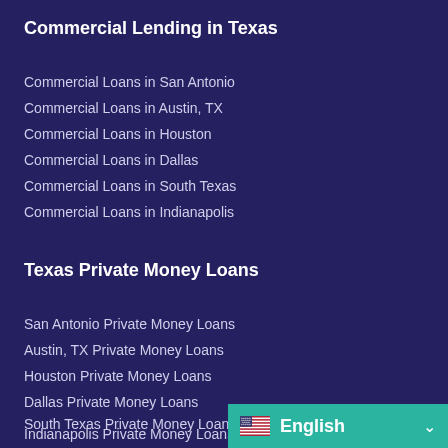Commercial Lending in Texas
Commercial Loans in San Antonio
Commercial Loans in Austin, TX
Commercial Loans in Houston
Commercial Loans in Dallas
Commercial Loans in South Texas
Commercial Loans in Indianapolis
Texas Private Money Loans
San Antonio Private Money Loans
Austin, TX Private Money Loans
Houston Private Money Loans
Dallas Private Money Loans
South Texas Private Money Loans
Indianapolis Private Money Loans